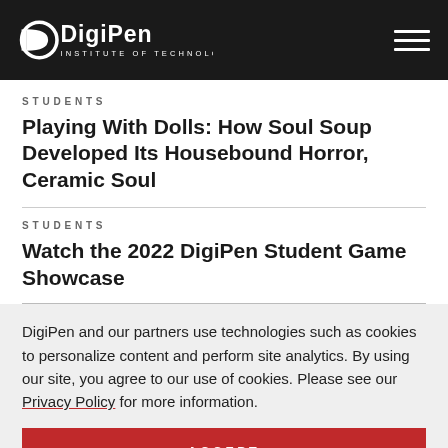DigiPen Institute of Technology
STUDENTS
Playing With Dolls: How Soul Soup Developed Its Housebound Horror, Ceramic Soul
STUDENTS
Watch the 2022 DigiPen Student Game Showcase
DigiPen and our partners use technologies such as cookies to personalize content and perform site analytics. By using our site, you agree to our use of cookies. Please see our Privacy Policy for more information.
ACCEPT